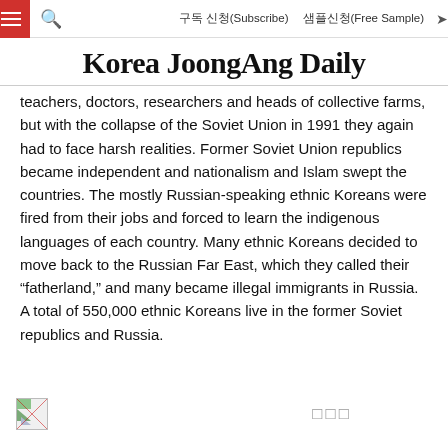구독 신청(Subscribe)  샘플신청(Free Sample)
Korea JoongAng Daily
teachers, doctors, researchers and heads of collective farms, but with the collapse of the Soviet Union in 1991 they again had to face harsh realities. Former Soviet Union republics became independent and nationalism and Islam swept the countries. The mostly Russian-speaking ethnic Koreans were fired from their jobs and forced to learn the indigenous languages of each country. Many ethnic Koreans decided to move back to the Russian Far East, which they called their “fatherland,” and many became illegal immigrants in Russia. A total of 550,000 ethnic Koreans live in the former Soviet republics and Russia.
[Figure (other): Broken image thumbnail at bottom left of page]
□□□